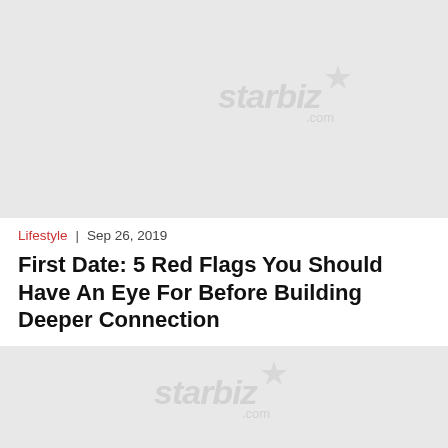[Figure (photo): Large placeholder image with starbiz.com watermark]
Lifestyle  |  Sep 26, 2019
First Date: 5 Red Flags You Should Have An Eye For Before Building Deeper Connection
[Figure (photo): Second placeholder image with starbiz.com watermark, partially visible]